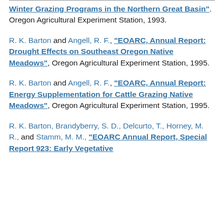Winter Grazing Programs in the Northern Great Basin". Oregon Agricultural Experiment Station, 1993.
R. K. Barton and Angell, R. F., "EOARC, Annual Report: Drought Effects on Southeast Oregon Native Meadows", Oregon Agricultural Experiment Station, 1995.
R. K. Barton and Angell, R. F., "EOARC, Annual Report: Energy Supplementation for Cattle Grazing Native Meadows", Oregon Agricultural Experiment Station, 1995.
R. K. Barton, Brandyberry, S. D., Delcurto, T., Horney, M. R., and Stamm, M. M., "EOARC Annual Report, Special Report 923: Early Vegetative...